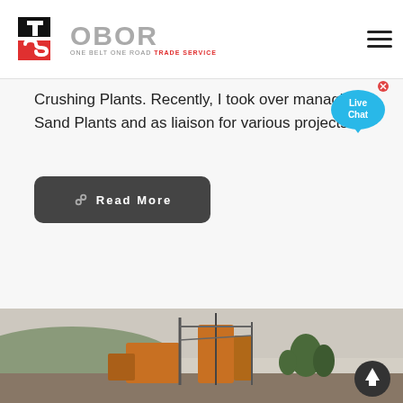OBOR ONE BELT ONE ROAD TRADE SERVICE
Crushing Plants. Recently, I took over managing Sand Plants and as liaison for various projects.
[Figure (other): Live Chat bubble widget with blue speech bubble icon]
[Figure (other): Dark grey Read More button with link icon]
[Figure (photo): Industrial machinery / crushing plant equipment on a hillside, orange-colored machines visible]